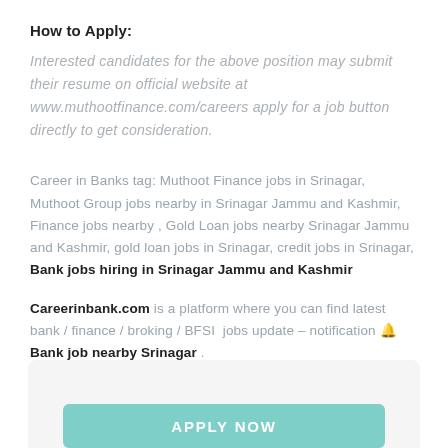How to Apply:
Interested candidates for the above position may submit their resume on official website at www.muthootfinance.com/careers apply for a job button directly to get consideration.
Career in Banks tag: Muthoot Finance jobs in Srinagar, Muthoot Group jobs nearby in Srinagar Jammu and Kashmir, Finance jobs nearby , Gold Loan jobs nearby Srinagar Jammu and Kashmir, gold loan jobs in Srinagar, credit jobs in Srinagar, Bank jobs hiring in Srinagar Jammu and Kashmir
Careerinbank.com is a platform where you can find latest bank / finance / broking / BFSI jobs update – notification 🔔 Bank job nearby Srinagar .
[Figure (other): Apply Now button in teal/turquoise color at the bottom of the page inside a light gray rounded box]